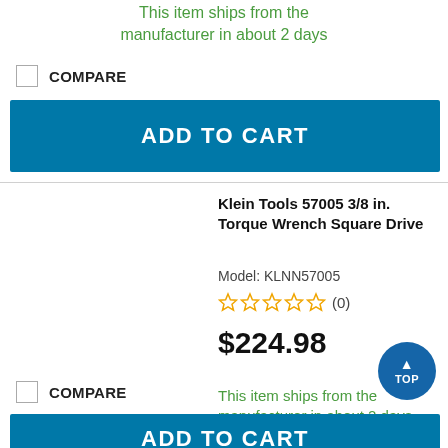This item ships from the manufacturer in about 2 days
COMPARE
ADD TO CART
Klein Tools 57005 3/8 in. Torque Wrench Square Drive
Model: KLNN57005
(0)
$224.98
This item ships from the manufacturer in about 2 days
COMPARE
ADD TO CART